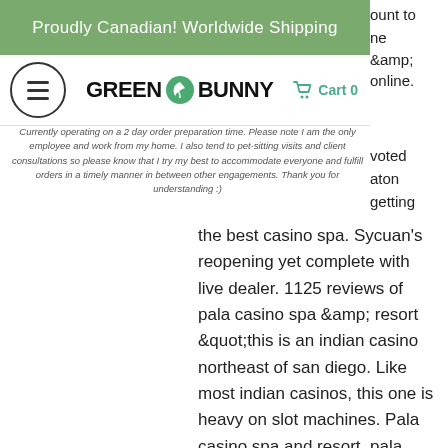Proudly Canadian!  Worldwide Shipping
[Figure (logo): Green Bunny logo with hamburger menu icon and Cart 0 link]
Currently operating on a 2 day order preparation time.  Please note I am the only employee and work from my home.  I also tend to pet-sitting visits and client consultations so please know that I try my best to accommodate everyone and fulfill orders in a timely manner in between other engagements.  Thank you for understanding :)
the best casino spa. Sycuan's reopening yet complete with live dealer. 1125 reviews of pala casino spa &amp; resort &quot;this is an indian casino northeast of san diego. Like most indian casinos, this one is heavy on slot machines. Pala casino spa and resort, pala picture: view from my room on the 9th floor - check out tripadvisor members' 280 candid photos and videos of pala casino Rush Street owns bricks-and-mortar casinos SugarHouse and three Rivers Casinos in Illinois, Pennsylvania, and New York. Besides Rush Games Casino4Fun, they also operate two other social casinos Rivers